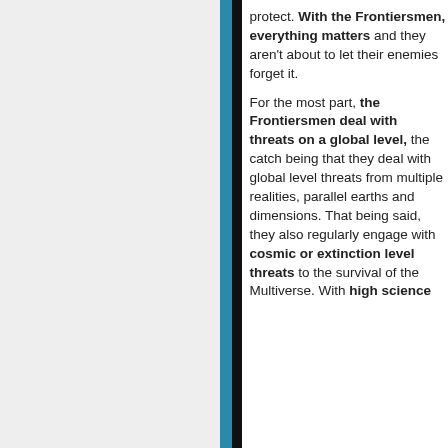protect. With the Frontiersmen, everything matters and they aren't about to let their enemies forget it.

For the most part, the Frontiersmen deal with threats on a global level, the catch being that they deal with global level threats from multiple realities, parallel earths and dimensions. That being said, they also regularly engage with cosmic or extinction level threats to the survival of the Multiverse. With high science